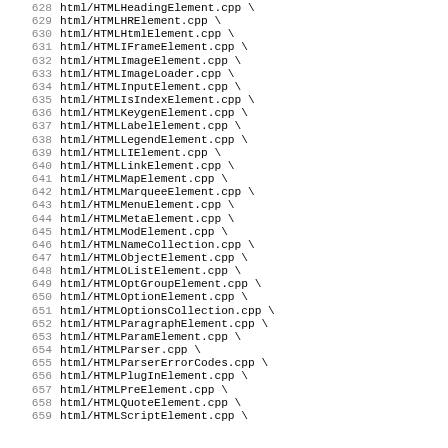628 html/HTMLHeadingElement.cpp \
629 html/HTMLHRElement.cpp \
630 html/HTMLHtmlElement.cpp \
631 html/HTMLIFrameElement.cpp \
632 html/HTMLImageElement.cpp \
633 html/HTMLImageLoader.cpp \
634 html/HTMLInputElement.cpp \
635 html/HTMLIsIndexElement.cpp \
636 html/HTMLKeygenElement.cpp \
637 html/HTMLLabelElement.cpp \
638 html/HTMLLegendElement.cpp \
639 html/HTMLLIElement.cpp \
640 html/HTMLLinkElement.cpp \
641 html/HTMLMapElement.cpp \
642 html/HTMLMarqueeElement.cpp \
643 html/HTMLMenuElement.cpp \
644 html/HTMLMetaElement.cpp \
645 html/HTMLModElement.cpp \
646 html/HTMLNameCollection.cpp \
647 html/HTMLObjectElement.cpp \
648 html/HTMLOListElement.cpp \
649 html/HTMLOptGroupElement.cpp \
650 html/HTMLOptionElement.cpp \
651 html/HTMLOptionsCollection.cpp \
652 html/HTMLParagraphElement.cpp \
653 html/HTMLParamElement.cpp \
654 html/HTMLParser.cpp \
655 html/HTMLParserErrorCodes.cpp \
656 html/HTMLPlugInElement.cpp \
657 html/HTMLPreElement.cpp \
658 html/HTMLQuoteElement.cpp \
659 html/HTMLScriptElement.cpp \